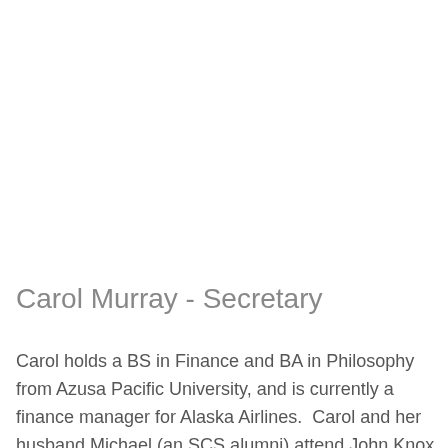Carol Murray - Secretary
Carol holds a BS in Finance and BA in Philosophy from Azusa Pacific University, and is currently a finance manager for Alaska Airlines.  Carol and her husband Michael (an SCS alumni) attend John Knox Presbyterian Church in Normandy Park.  They have two sons, one in